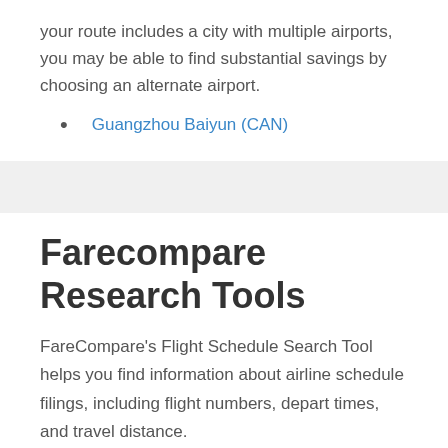your route includes a city with multiple airports, you may be able to find substantial savings by choosing an alternate airport.
Guangzhou Baiyun (CAN)
Farecompare Research Tools
FareCompare's Flight Schedule Search Tool helps you find information about airline schedule filings, including flight numbers, depart times, and travel distance.
Research Schedules from Tripoli, Libya to Guangzhou